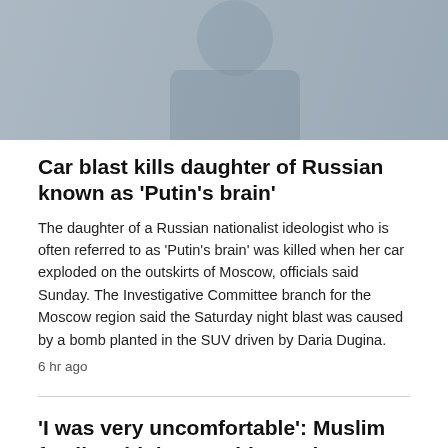[Figure (photo): A man in a dark blazer and light shirt, photographed from mid-torso up, in an indoor setting with a blurred background.]
Car blast kills daughter of Russian known as 'Putin's brain'
The daughter of a Russian nationalist ideologist who is often referred to as 'Putin's brain' was killed when her car exploded on the outskirts of Moscow, officials said Sunday. The Investigative Committee branch for the Moscow region said the Saturday night blast was caused by a bomb planted in the SUV driven by Daria Dugina.
6 hr ago
'I was very uncomfortable': Muslim family told they couldn't swim at Manitoba waterpark due to burkini
Garden River pow wow draws crowds
4 hr ago